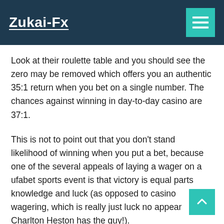Zukai-Fx
Look at their roulette table and you should see the zero may be removed which offers you an authentic 35:1 return when you bet on a single number. The chances against winning in day-to-day casino are 37:1.
This is not to point out that you don't stand likelihood of winning when you put a bet, because one of the several appeals of laying a wager on a ufabet sports event is that victory is equal parts knowledge and luck (as opposed to casino wagering, which is really just luck no appear Charlton Heston has the guy!).
The 1 rule for gambling, and the most important of all baccarat tips is to never gamble with “dear” money; only gamble with “excess” financial investment. In